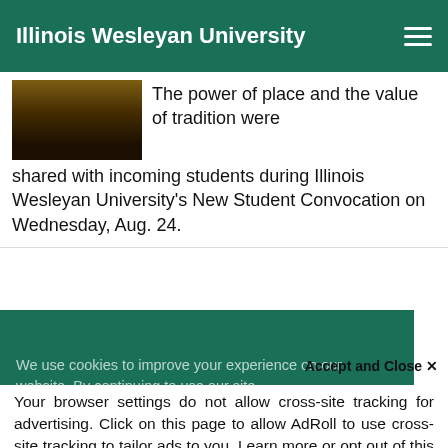Illinois Wesleyan University
[Figure (photo): Dark photo of student silhouettes in an auditorium from behind]
The power of place and the value of tradition were shared with incoming students during Illinois Wesleyan University's New Student Convocation on Wednesday, Aug. 24.
We use cookies to improve your experience on our website. By continuing to use our site...
Accept and Close ×
Your browser settings do not allow cross-site tracking for advertising. Click on this page to allow AdRoll to use cross-site tracking to tailor ads to you. Learn more or opt out of this AdRoll tracking by clicking here. This message only appears once.